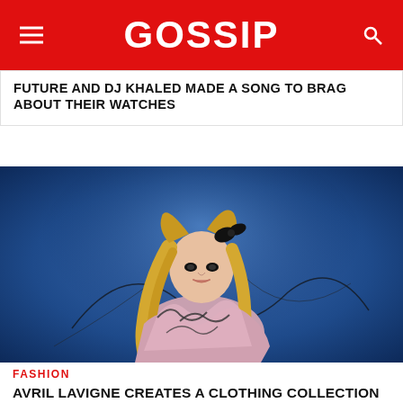GOSSIP
FUTURE AND DJ KHALED MADE A SONG TO BRAG ABOUT THEIR WATCHES
[Figure (photo): Blonde woman with black hair clip wearing a black and pink patterned bodysuit, posed against a blue background]
FASHION
AVRIL LAVIGNE CREATES A CLOTHING COLLECTION + MORE FASHION NEWS